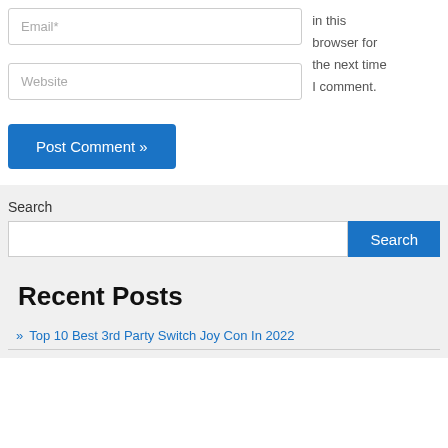Email*
in this browser for the next time I comment.
Website
Post Comment »
Search
Search
Recent Posts
» Top 10 Best 3rd Party Switch Joy Con In 2022